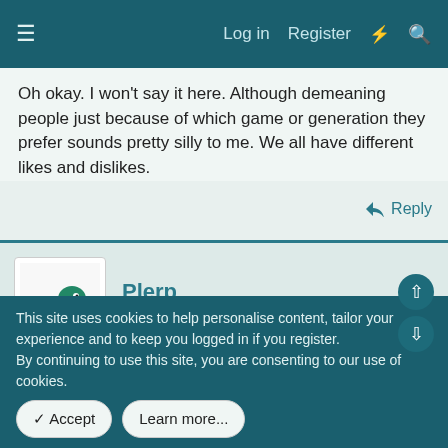Log in  Register
Oh okay. I won't say it here. Although demeaning people just because of which game or generation they prefer sounds pretty silly to me. We all have different likes and dislikes.
Reply
Plerp
New Member
May 16, 2018   #32
I don't exactly know that it would ever come up. (and I don't plan to bring it up other than this one time) But how exactly is
This site uses cookies to help personalise content, tailor your experience and to keep you logged in if you register.
By continuing to use this site, you are consenting to our use of cookies.